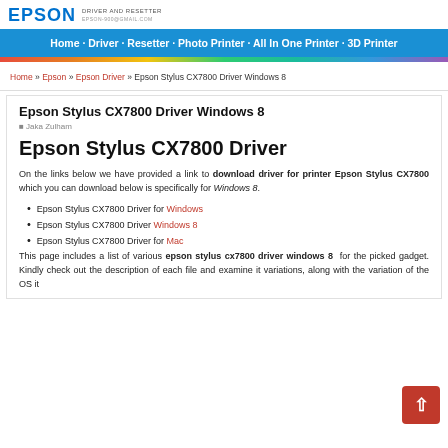EPSON DRIVER AND RESETTER
Home · Driver · Resetter · Photo Printer · All In One Printer · 3D Printer
Home » Epson » Epson Driver » Epson Stylus CX7800 Driver Windows 8
Epson Stylus CX7800 Driver Windows 8
Jaka Zulham
Epson Stylus CX7800 Driver
On the links below we have provided a link to download driver for printer Epson Stylus CX7800 which you can download below is specifically for Windows 8.
Epson Stylus CX7800 Driver for Windows
Epson Stylus CX7800 Driver Windows 8
Epson Stylus CX7800 Driver for Mac
This page includes a list of various epson stylus cx7800 driver windows 8 for the picked gadget. Kindly check out the description of each file and examine it variations, along with the variation of the OS it